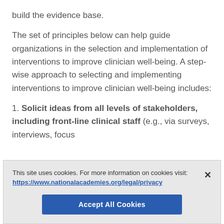build the evidence base.
The set of principles below can help guide organizations in the selection and implementation of interventions to improve clinician well-being. A step-wise approach to selecting and implementing interventions to improve clinician well-being includes:
1. Solicit ideas from all levels of stakeholders, including front-line clinical staff (e.g., via surveys, interviews, focus
This site uses cookies. For more information on cookies visit: https://www.nationalacademies.org/legal/privacy
Accept All Cookies